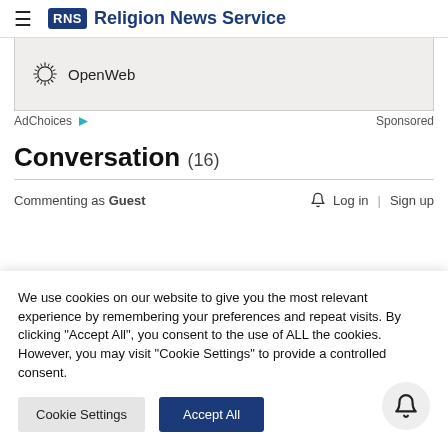RNS Religion News Service
[Figure (logo): OpenWeb logo with sun/burst icon and text 'OpenWeb' inside an advertisement block]
AdChoices ▷   Sponsored
Conversation (16)
Commenting as Guest    🔔  Log in | Sign up
We use cookies on our website to give you the most relevant experience by remembering your preferences and repeat visits. By clicking "Accept All", you consent to the use of ALL the cookies. However, you may visit "Cookie Settings" to provide a controlled consent.